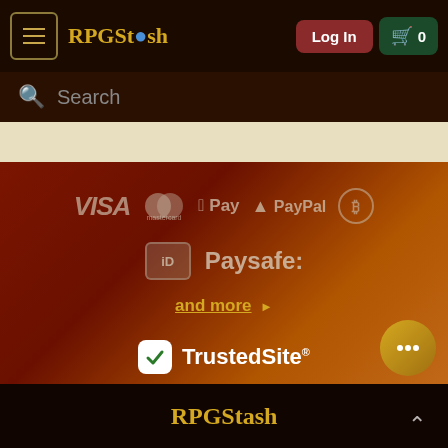RPGStash — Navigation bar with hamburger menu, Log In button, cart button showing 0
Search
[Figure (infographic): Payment methods section showing VISA, Mastercard, Apple Pay, PayPal, Bitcoin, iDEAL, Paysafe logos on dark red-to-orange gradient background, with 'and more' link and TrustedSite badge]
RPGStash